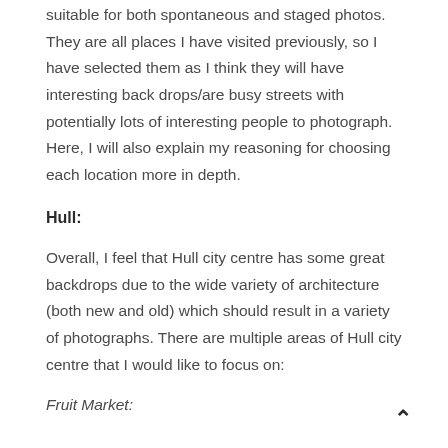suitable for both spontaneous and staged photos. They are all places I have visited previously, so I have selected them as I think they will have interesting back drops/are busy streets with potentially lots of interesting people to photograph. Here, I will also explain my reasoning for choosing each location more in depth.
Hull:
Overall, I feel that Hull city centre has some great backdrops due to the wide variety of architecture (both new and old) which should result in a variety of photographs. There are multiple areas of Hull city centre that I would like to focus on:
Fruit Market: